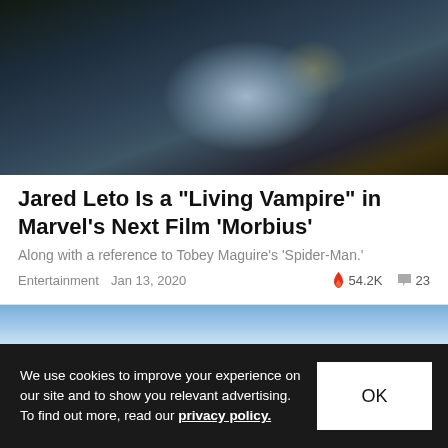[Figure (photo): Close-up dark image of a person appearing as a vampire character, dark atmospheric tones with blue and olive hues]
Jared Leto Is a "Living Vampire" in Marvel's Next Film 'Morbius'
Along with a reference to Tobey Maguire's 'Spider-Man.'
Entertainment  Jan 13, 2020  🔥 54.2K  💬 23
[Figure (photo): Partial image showing blue sky with clouds and a dark blue structure or building]
We use cookies to improve your experience on our site and to show you relevant advertising. To find out more, read our privacy policy.